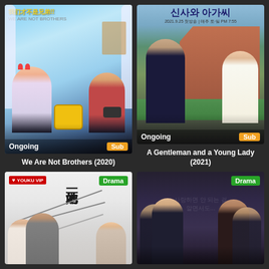[Figure (screenshot): Drama streaming app screenshot showing grid of drama posters]
[Figure (photo): Poster for 'We Are Not Brothers (2020)' - two young men sitting on a couch with a Spongebob plushie, animated style Chinese drama. Badges show 'Ongoing' and 'Sub'.]
We Are Not Brothers (2020)
[Figure (photo): Poster for 'A Gentleman and a Young Lady (2021)' - Korean drama with man in suit and woman standing outdoors near a brick building. Korean title 신사와 아가씨. Badges show 'Ongoing' and 'Sub'.]
A Gentleman and a Young Lady (2021)
[Figure (photo): Poster for a Chinese drama on Youku platform - vertical Chinese characters, airplane/propeller imagery, Drama badge in green.]
[Figure (photo): Poster for a Korean drama - dark background with group of four actors in dramatic pose, Drama badge in green.]